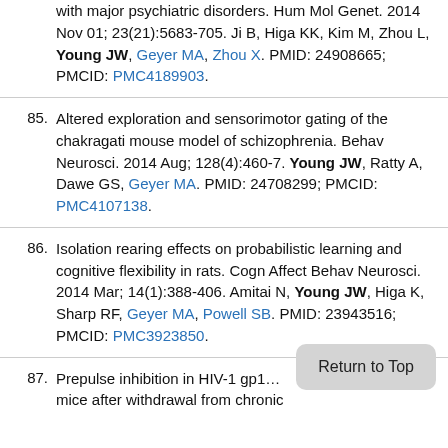(partial, top) with major psychiatric disorders. Hum Mol Genet. 2014 Nov 01; 23(21):5683-705. Ji B, Higa KK, Kim M, Zhou L, Young JW, Geyer MA, Zhou X. PMID: 24908665; PMCID: PMC4189903.
85. Altered exploration and sensorimotor gating of the chakragati mouse model of schizophrenia. Behav Neurosci. 2014 Aug; 128(4):460-7. Young JW, Ratty A, Dawe GS, Geyer MA. PMID: 24708299; PMCID: PMC4107138.
86. Isolation rearing effects on probabilistic learning and cognitive flexibility in rats. Cogn Affect Behav Neurosci. 2014 Mar; 14(1):388-406. Amitai N, Young JW, Higa K, Sharp RF, Geyer MA, Powell SB. PMID: 23943516; PMCID: PMC3923850.
87. Prepulse inhibition in HIV-1 gp1... mice after withdrawal from chronic